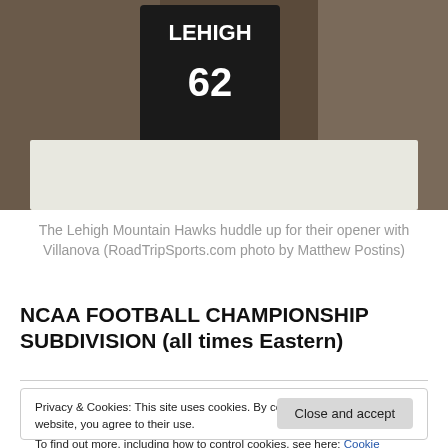[Figure (photo): Lehigh Mountain Hawks football players huddling, player in center wearing black jersey number 62 with LEHIGH text, surrounded by players in brown jerseys and white pants]
The Lehigh Mountain Hawks huddle up for their opener with Villanova (RoadTripSports.com photo by Matthew Postins)
NCAA FOOTBALL CHAMPIONSHIP SUBDIVISION (all times Eastern)
Privacy & Cookies: This site uses cookies. By continuing to use this website, you agree to their use. To find out more, including how to control cookies, see here: Cookie Policy
Close and accept